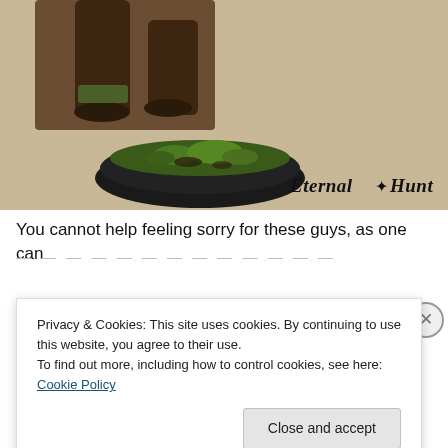[Figure (photo): Close-up photo of a painted miniature figure's legs and base. The base is dark/black with green grass flock. The figure has dark brown/black boots and pants. Background is a beige/cream carpet texture. 'Eternal Hunt' watermark logo in bottom-right corner.]
You cannot help feeling sorry for these guys, as one can
Privacy & Cookies: This site uses cookies. By continuing to use this website, you agree to their use.
To find out more, including how to control cookies, see here: Cookie Policy
Close and accept